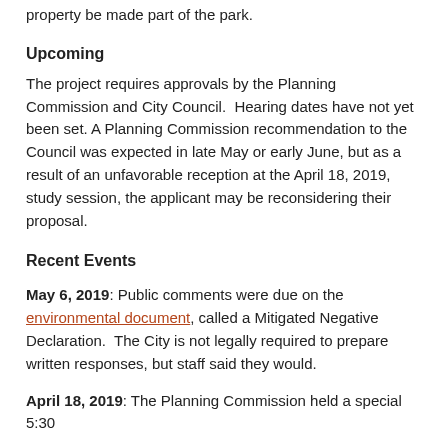property be made part of the park.
Upcoming
The project requires approvals by the Planning Commission and City Council.  Hearing dates have not yet been set. A Planning Commission recommendation to the Council was expected in late May or early June, but as a result of an unfavorable reception at the April 18, 2019, study session, the applicant may be reconsidering their proposal.
Recent Events
May 6, 2019: Public comments were due on the environmental document, called a Mitigated Negative Declaration.  The City is not legally required to prepare written responses, but staff said they would.
April 18, 2019: The Planning Commission held a special 5:30